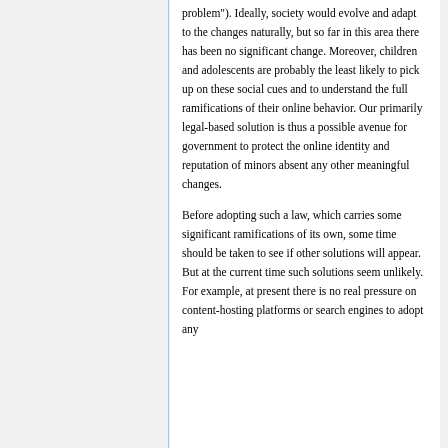problem"). Ideally, society would evolve and adapt to the changes naturally, but so far in this area there has been no significant change. Moreover, children and adolescents are probably the least likely to pick up on these social cues and to understand the full ramifications of their online behavior. Our primarily legal-based solution is thus a possible avenue for government to protect the online identity and reputation of minors absent any other meaningful changes.
Before adopting such a law, which carries some significant ramifications of its own, some time should be taken to see if other solutions will appear. But at the current time such solutions seem unlikely. For example, at present there is no real pressure on content-hosting platforms or search engines to adopt any